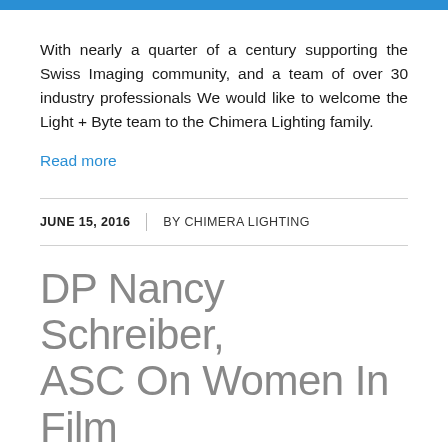[Figure (other): Blue horizontal bar at top of page]
With nearly a quarter of a century supporting the Swiss Imaging community, and a team of over 30 industry professionals We would like to welcome the Light + Byte team to the Chimera Lighting family.
Read more
JUNE 15, 2016  BY CHIMERA LIGHTING
DP Nancy Schreiber, ASC On Women In Film And Lighting Without A